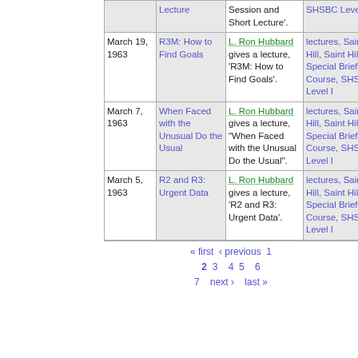| Date | Title | Description | Links |
| --- | --- | --- | --- |
|  | Lecture | Session and Short Lecture'. | SHSBC Level I |
| March 19, 1963 | R3M: How to Find Goals | L. Ron Hubbard gives a lecture, 'R3M: How to Find Goals'. | lectures, Saint Hill, Saint Hill Special Briefing Course, SHSBC Level I |
| March 7, 1963 | When Faced with the Unusual Do the Usual | L. Ron Hubbard gives a lecture, "When Faced with the Unusual Do the Usual". | lectures, Saint Hill, Saint Hill Special Briefing Course, SHSBC Level I |
| March 5, 1963 | R2 and R3: Urgent Data | L. Ron Hubbard gives a lecture, 'R2 and R3: Urgent Data'. | lectures, Saint Hill, Saint Hill Special Briefing Course, SHSBC Level I |
« first ‹ previous 1 2 3 4 5 6 7 next › last »